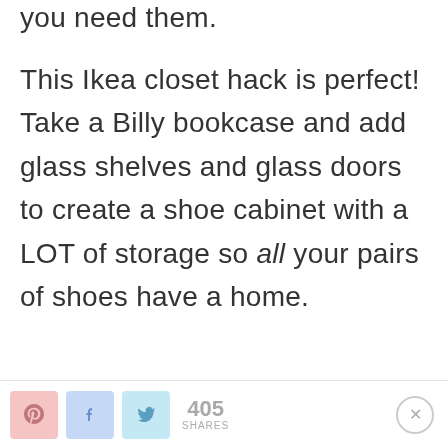you need them.
This Ikea closet hack is perfect! Take a Billy bookcase and add glass shelves and glass doors to create a shoe cabinet with a LOT of storage so all your pairs of shoes have a home.
405 SHARES